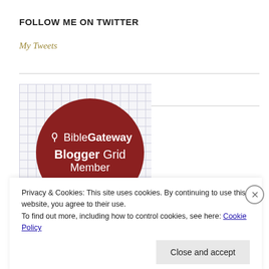FOLLOW ME ON TWITTER
My Tweets
[Figure (logo): BibleGateway Blogger Grid Member badge — dark red circle with BibleGateway logo and text 'Blogger Grid Member' on a grid background]
Privacy & Cookies: This site uses cookies. By continuing to use this website, you agree to their use.
To find out more, including how to control cookies, see here: Cookie Policy
Close and accept